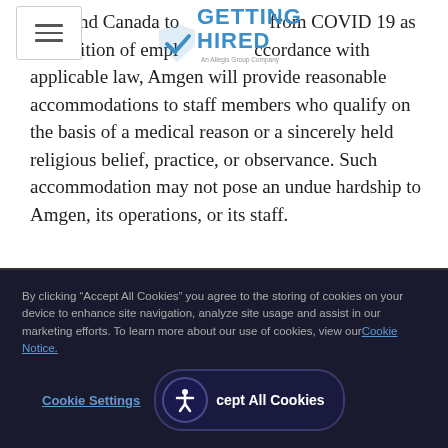[Figure (logo): Getting Hired logo — An Allegis Group Company, displayed in blue text with a checkmark]
Rico and Canada to [get vaccinated] from COVID 19 as a condition of employment, in accordance with applicable law, Amgen will provide reasonable accommodations to staff members who qualify on the basis of a medical reason or a sincerely held religious belief, practice, or observance. Such accommodation may not pose an undue hardship to Amgen, its operations, or its staff.
By clicking “Accept All Cookies” you agree to the storing of cookies on your device to enhance site navigation, analyze site usage and assist in our marketing efforts. To learn more about our use of cookies, view our Cookie Notice.